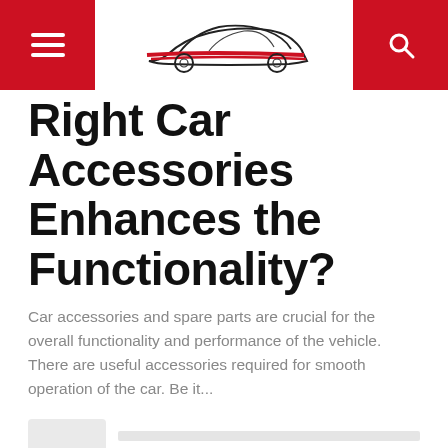Navigation header with hamburger menu, car logo, and search icon
Right Car Accessories Enhances the Functionality?
Car accessories and spare parts are crucial for the overall functionality and performance of the vehicle. There are useful accessories required for smooth operation of the car. Be it...